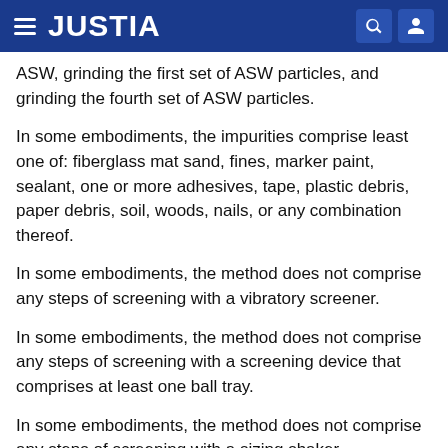JUSTIA
ASW, grinding the first set of ASW particles, and grinding the fourth set of ASW particles.
In some embodiments, the impurities comprise least one of: fiberglass mat sand, fines, marker paint, sealant, one or more adhesives, tape, plastic debris, paper debris, soil, woods, nails, or any combination thereof.
In some embodiments, the method does not comprise any steps of screening with a vibratory screener.
In some embodiments, the method does not comprise any steps of screening with a screening device that comprises at least one ball tray.
In some embodiments, the method does not comprise any steps of screening with a sizing shaker.
In some embodiments, the method does not comprise a